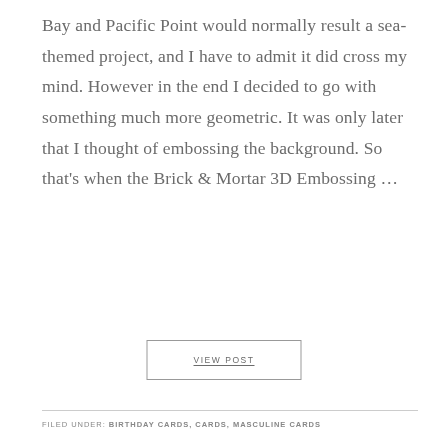Bay and Pacific Point would normally result a sea-themed project, and I have to admit it did cross my mind. However in the end I decided to go with something much more geometric. It was only later that I thought of embossing the background. So that's when the Brick & Mortar 3D Embossing ...
VIEW POST
FILED UNDER: BIRTHDAY CARDS, CARDS, MASCULINE CARDS